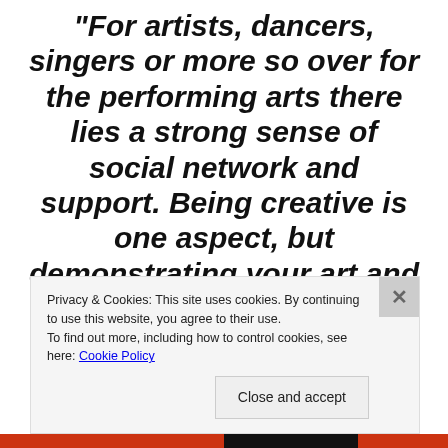“For artists, dancers, singers or more so over for the performing arts there lies a strong sense of social network and support. Being creative is one aspect, but demonstrating your art and reaching out to an audience is
Privacy & Cookies: This site uses cookies. By continuing to use this website, you agree to their use.
To find out more, including how to control cookies, see here: Cookie Policy